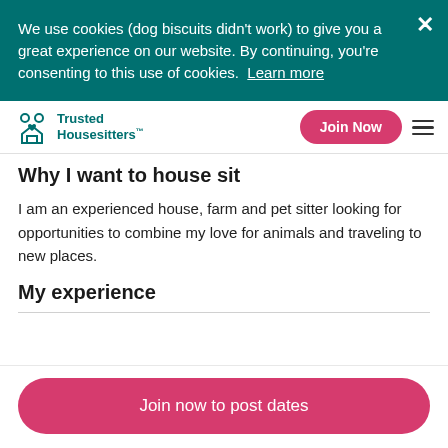We use cookies (dog biscuits didn't work) to give you a great experience on our website. By continuing, you're consenting to this use of cookies. Learn more
Trusted Housesitters
Why I want to house sit
I am an experienced house, farm and pet sitter looking for opportunities to combine my love for animals and traveling to new places.
My experience
Join now to post dates